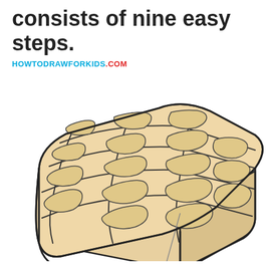consists of nine easy steps.
HOWTODRAWFORKIDS.COM
[Figure (illustration): A colored illustration of a Belgian waffle viewed in 3/4 perspective angle. The waffle is square-shaped with rounded corners, colored in a light golden/tan color. The top surface shows a grid pattern of square indentations (4x4 grid). The waffle has visible thickness/depth shown on the left and bottom sides in a slightly darker tan/cream color. The outline is drawn in dark black lines giving it a cartoon-like illustration style.]